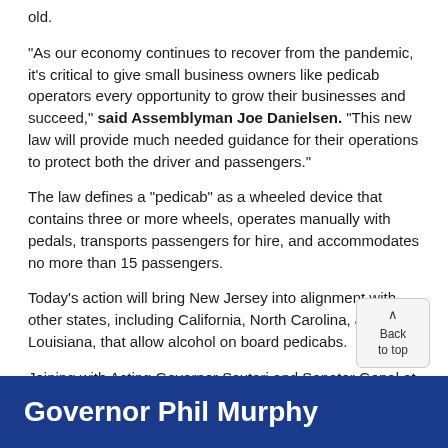old.
"As our economy continues to recover from the pandemic, it's critical to give small business owners like pedicab operators every opportunity to grow their businesses and succeed," said Assemblyman Joe Danielsen. "This new law will provide much needed guidance for their operations to protect both the driver and passengers."
The law defines a "pedicab" as a wheeled device that contains three or more wheels, operates manually with pedals, transports passengers for hire, and accommodates no more than 15 passengers.
Today's action will bring New Jersey into alignment with other states, including California, North Carolina, and Louisiana, that allow alcohol on board pedicabs.
Joining with Acting Governor Scutari and Senator Gopal at Robinson Ale House in support of the new law were Christine Buteas of the New Jersey Business & Industry Association, Eileen Kean of the National Federation of Independent Businesses and Jesse Pomeroy, owner of Asbury Pedalcycle
Governor Phil Murphy